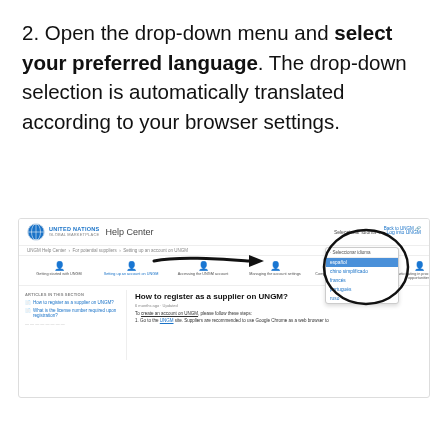2. Open the drop-down menu and select your preferred language. The drop-down selection is automatically translated according to your browser settings.
[Figure (screenshot): Screenshot of the UNGM Help Center webpage showing the 'How to register as a supplier on UNGM?' page. A drop-down language menu is visible in the top right corner with options including 'español' (highlighted in blue), 'chino simplificado', 'francés', 'portugués', and 'ruso'. A black arrow points from the center of the image toward the highlighted drop-down menu. An oval/circle is drawn around the drop-down menu to emphasize it.]